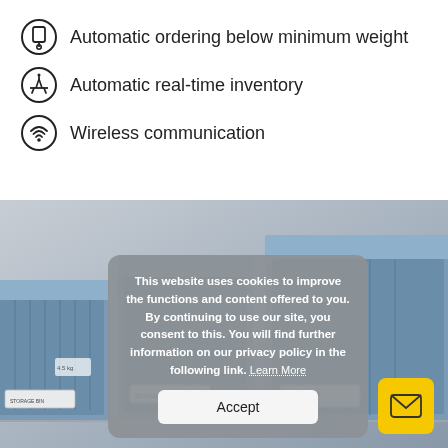Automatic ordering below minimum weight
Automatic real-time inventory
Wireless communication
[Figure (photo): Blue plastic storage bins/trays on a metal shelf rail system, with label holders on the front]
This website uses cookies to improve the functions and content offered to you. By continuing to use our site, you consent to this. You will find further information on our privacy policy in the following link. Learn More